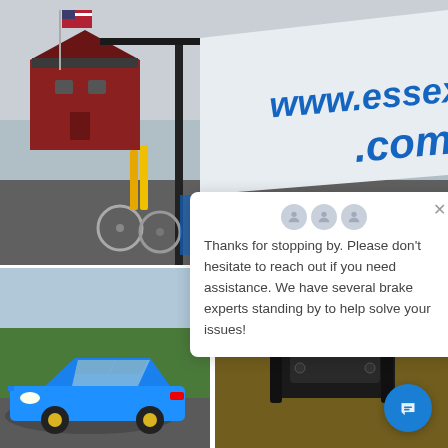[Figure (photo): Outdoor event photo showing a large white banner with 'www.essexparts.com' in blue text, a tent/gazebo structure, equipment including bicycles/stands, an American flag, and a red building in background.]
[Figure (screenshot): Website chat popup widget with three person icons, an X close button, and text: 'Thanks for stopping by. Please don't hesitate to reach out if you need assistance. We have several brake experts standing by to help solve your issues!']
Thanks for stopping by. Please don't hesitate to reach out if you need assistance. We have several brake experts standing by to help solve your issues!
[Figure (photo): Blue Porsche 911 sports car parked at an outdoor event, green trees in background.]
[Figure (photo): Close-up of a black brake caliper component on a workbench with yellow background visible.]